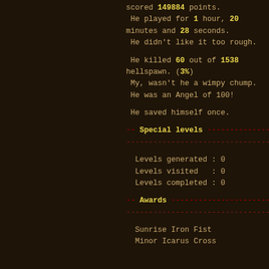scored 149884 points.
He played for 1 hour, 20 minutes and 28 seconds.
He didn't like it too rough.
He killed 60 out of 1538 hellspawn. (3%)
My, wasn't he a wimpy chump.
He was an Angel of 100!
He saved himself once.
-- Special levels ------------------
------------------------------------
Levels generated : 0
Levels visited   : 0
Levels completed : 0
-- Awards --------------------------
------------------------------------
Sunrise Iron Fist
Minor Icarus Cross